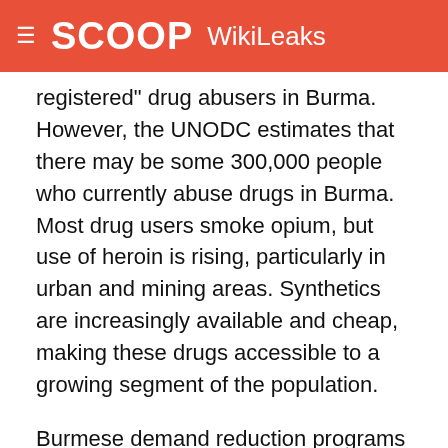SCOOP WikiLeaks
registered" drug abusers in Burma. However, the UNODC estimates that there may be some 300,000 people who currently abuse drugs in Burma. Most drug users smoke opium, but use of heroin is rising, particularly in urban and mining areas. Synthetics are increasingly available and cheap, making these drugs accessible to a growing segment of the population.
Burmese demand reduction programs are in part